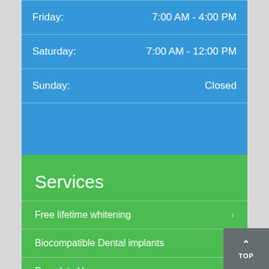| Day | Hours |
| --- | --- |
| Friday: | 7:00 AM - 4:00 PM |
| Saturday: | 7:00 AM - 12:00 PM |
| Sunday: | Closed |
Services
Free lifetime whitening
Biocompatible Dental implants
Porcelain Veneers
IRG + MouthGuard